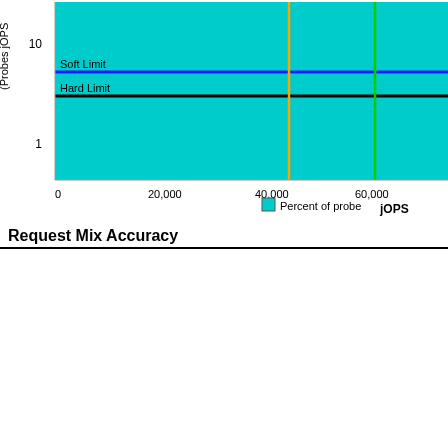[Figure (continuous-plot): Top chart (partial): Y-axis labeled '(Probes jOPS' with values 1 and 10 (log scale). X-axis shows 0, 20,000, 40,000, 60,000. Cyan background. Blue horizontal line labeled 'Soft Limit', black horizontal line labeled 'Hard Limit'. Vertical orange line at ~40,000 and vertical green line at ~55,000. Label 'jOPS' on x-axis. Legend: cyan square 'Percent of probe'.]
Request Mix Accuracy
[Figure (continuous-plot): Bottom chart: Title 'Request Mix Ac...' Y-axis 'Expected % in the Mix' with values -1 to 7. Vertical orange line at ~x=170, vertical yellow line at ~x=360 labeled 'critical-jOPS'. Blue horizontal line at y=5 labeled 'Main Tx Limit'. Line at y=1 labeled 'Minor Tx Limit'. Line at y=0 labeled 'Minor Tx Limit'. Small wavy colored lines near y=0 showing actual vs expected mix.]